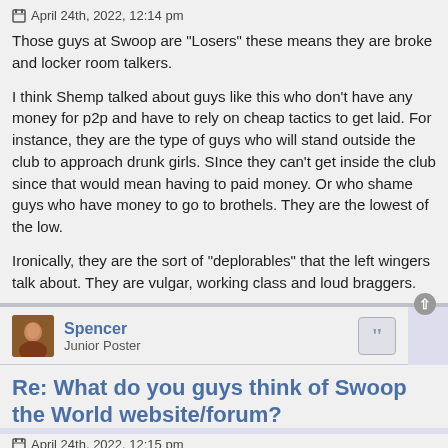April 24th, 2022, 12:14 pm
Those guys at Swoop are "Losers" these means they are broke and locker room talkers.

I think Shemp talked about guys like this who don't have any money for p2p and have to rely on cheap tactics to get laid. For instance, they are the type of guys who will stand outside the club to approach drunk girls. SInce they can't get inside the club since that would mean having to paid money. Or who shame guys who have money to go to brothels. They are the lowest of the low.

Ironically, they are the sort of "deplorables" that the left wingers talk about. They are vulgar, working class and loud braggers.
Spencer
Junior Poster
Re: What do you guys think of Swoop the World website/forum?
April 24th, 2022, 12:15 pm
publicduende wrote: ↑
Winston wrote: ↑